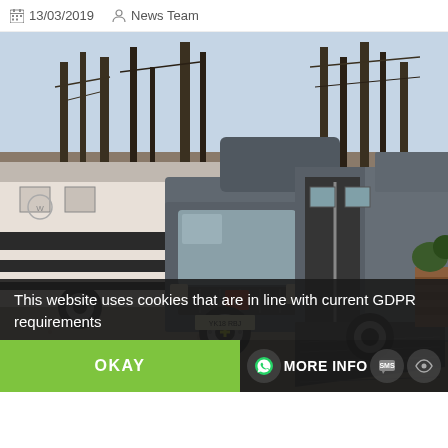13/03/2019   News Team
[Figure (photo): A grey Fiat Ducato horsebox/horse transport van with rear ramp lowered, parked on gravel next to a large luxury motorhome, with trees in the background.]
This website uses cookies that are in line with current GDPR requirements
OKAY   MORE INFO